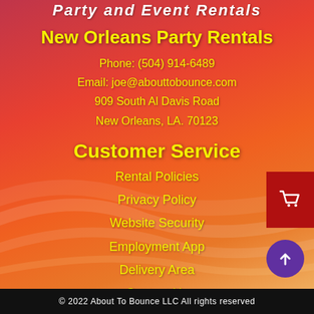Party and Event Rentals
New Orleans Party Rentals
Phone: (504) 914-6489
Email: joe@abouttobounce.com
909 South Al Davis Road
New Orleans, LA. 70123
Customer Service
Rental Policies
Privacy Policy
Website Security
Employment App
Delivery Area
Contact Us
© 2022 About To Bounce LLC All rights reserved